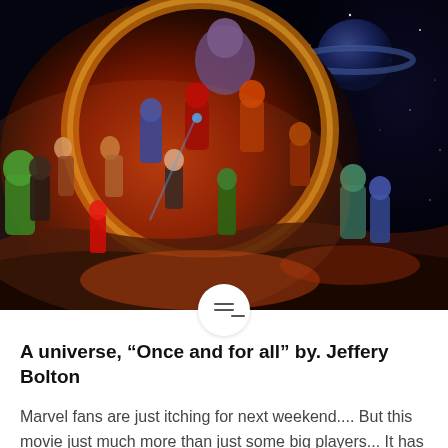[Figure (photo): Avengers: Infinity War movie poster showing many Marvel superhero characters including Thanos, Iron Man, Captain America, Thor, Black Widow, Hulk, and others against a fiery cosmic background with a ringed planet visible.]
A universe, “Once and for all” by. Jeffery Bolton
Marvel fans are just itching for next weekend.... But this movie just much more than just some big players... It has a history... 10 years ago Iron Man(2008) was